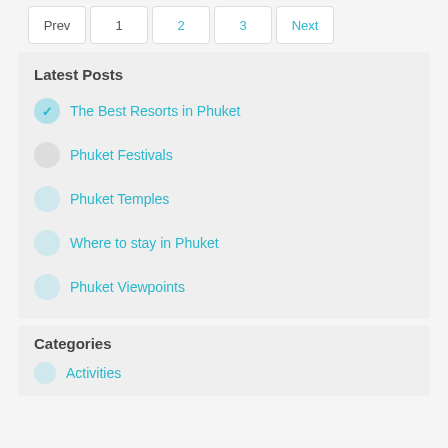Prev 1 2 3 Next
Latest Posts
The Best Resorts in Phuket
Phuket Festivals
Phuket Temples
Where to stay in Phuket
Phuket Viewpoints
Categories
Activities